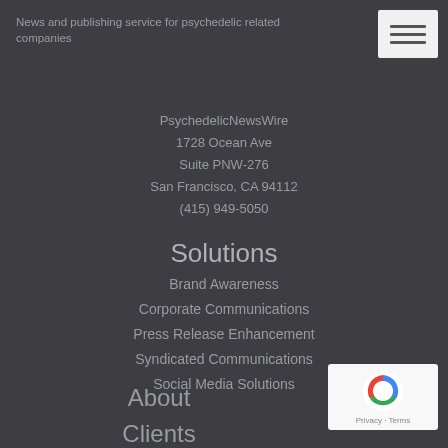News and publishing service for psychedelic related companies
PsychedelicNewsWire
1728 Ocean Ave
Suite PNW-276
San Francisco, CA 94112
(415) 949-5050
Solutions
Brand Awareness
Corporate Communications
Press Release Enhancement
Syndicated Communications
Social Media Solutions
About
Clients
NewsRoom
Events
Contact